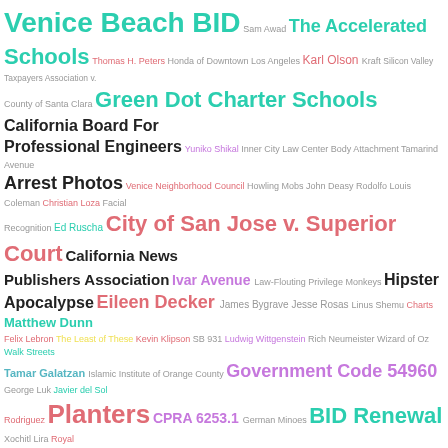[Figure (infographic): Word cloud containing various terms related to California public records, legal cases, city government, and organizations. Terms appear in varying sizes and colors (teal, green, magenta, purple, orange, red, blue, black, yellow) indicating frequency or importance. Large terms include 'Venice Beach BID', 'The Accelerated Schools', 'Green Dot Charter Schools', 'California Board For Professional Engineers', 'City of San Jose v. Superior Court', 'Recreation and Parks', 'LAHSA', 'Motion to Dismiss', 'CPRA 6253(c)', 'George Yu', 'Reporters Committee for Freedom of the Press', and many others.]